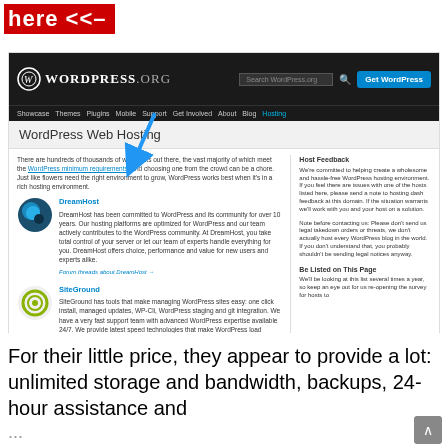[Figure (screenshot): Red 'here <<-' banner annotation pointing to a WordPress.org Web Hosting page screenshot showing DreamHost and SiteGround listings with logos, descriptions, forum links, and a sidebar with Host Feedback and Be Listed on This Page sections. A blue arrow annotation points to DreamHost.]
For their little price, they appear to provide a lot: unlimited storage and bandwidth, backups, 24-hour assistance and m...